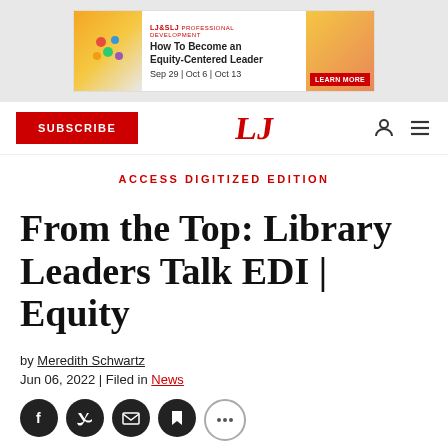[Figure (infographic): Advertisement banner for LJ&SLJ Professional Development: 'How To Become an Equity-Centered Leader', Sep 29 | Oct 6 | Oct 13, with LEARN MORE button]
[Figure (logo): Library Journal website navigation bar with SUBSCRIBE button, LJ logo in red, person icon, and hamburger menu icon]
ACCESS DIGITIZED EDITION
From the Top: Library Leaders Talk EDI | Equity
by Meredith Schwartz
Jun 06, 2022 | Filed in News
[Figure (infographic): Row of social media sharing icons: Facebook, Twitter, Email, Bookmark, and More]